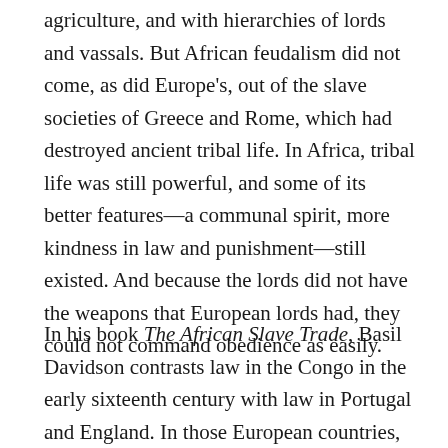agriculture, and with hierarchies of lords and vassals. But African feudalism did not come, as did Europe's, out of the slave societies of Greece and Rome, which had destroyed ancient tribal life. In Africa, tribal life was still powerful, and some of its better features—a communal spirit, more kindness in law and punishment—still existed. And because the lords did not have the weapons that European lords had, they could not command obedience as easily.
In his book The African Slave Trade, Basil Davidson contrasts law in the Congo in the early sixteenth century with law in Portugal and England. In those European countries, where the idea